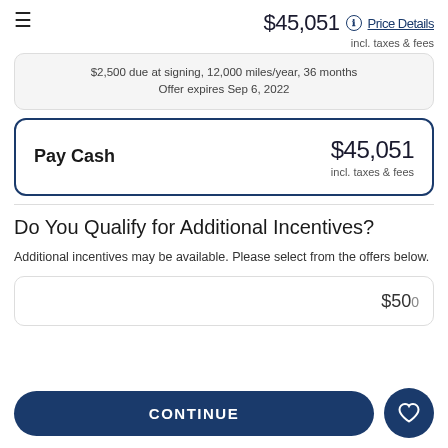$45,051 incl. taxes & fees — Price Details
$2,500 due at signing, 12,000 miles/year, 36 months
Offer expires Sep 6, 2022
Pay Cash  $45,051  incl. taxes & fees
Do You Qualify for Additional Incentives?
Additional incentives may be available. Please select from the offers below.